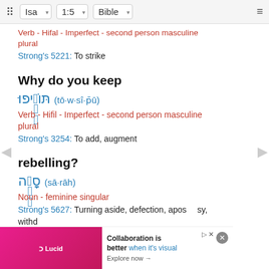Isa 1:5 Bible
Verb - Hifal - Imperfect - second person masculine plural
Strong's 5221: To strike
Why do you keep
תּוֹסִיפוּ (tō·w·sî·p̄ū)
Verb - Hifil - Imperfect - second person masculine plural
Strong's 3254: To add, augment
rebelling?
סָרָה (sā·rāh)
Noun - feminine singular
Strong's 5627: Turning aside, defection, apostasy, withd